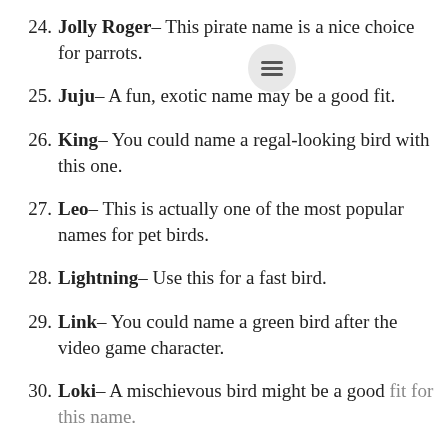24. Jolly Roger– This pirate name is a nice choice for parrots.
25. Juju– A fun, exotic name may be a good fit.
26. King– You could name a regal-looking bird with this one.
27. Leo– This is actually one of the most popular names for pet birds.
28. Lightning– Use this for a fast bird.
29. Link– You could name a green bird after the video game character.
30. Loki– A mischievous bird might be a good fit for this name.
31. Louie– This is yet another cartoon duck